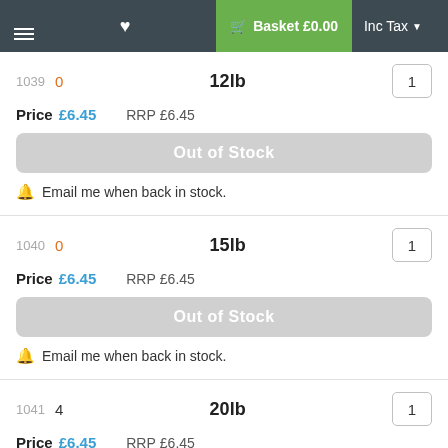≡  ♥  Basket £0.00  Inc Tax
1039  0  12lb  1
Price £6.45  RRP £6.45
Out of Stock
🔔 Email me when back in stock.
1040  0  15lb  1
Price £6.45  RRP £6.45
Out of Stock
🔔 Email me when back in stock.
1041  4  20lb  1
Price £6.45  RRP £6.45